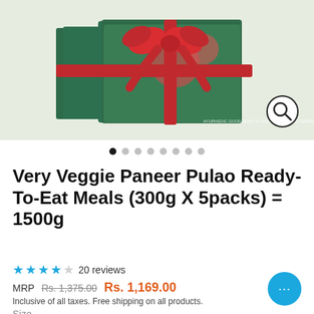[Figure (photo): Product photo of Very Veggie Paneer Pulao Ready-To-Eat Meals gift set boxes wrapped with a red ribbon bow, on a light green background, with a magnify icon in the bottom right corner.]
Very Veggie Paneer Pulao Ready-To-Eat Meals (300g X 5packs) = 1500g
★★★★☆ 20 reviews
MRP Rs. 1,375.00 Rs. 1,169.00
Inclusive of all taxes. Free shipping on all products.
Size